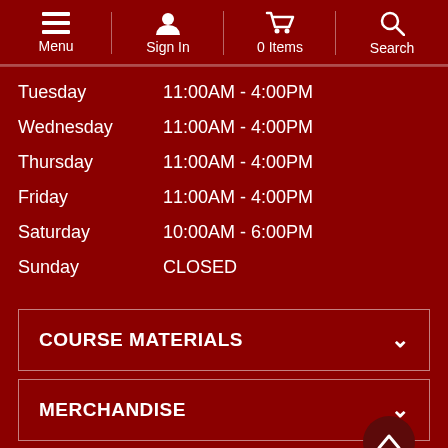Menu | Sign In | 0 Items | Search
| Day | Hours |
| --- | --- |
| Tuesday | 11:00AM - 4:00PM |
| Wednesday | 11:00AM - 4:00PM |
| Thursday | 11:00AM - 4:00PM |
| Friday | 11:00AM - 4:00PM |
| Saturday | 10:00AM - 6:00PM |
| Sunday | CLOSED |
COURSE MATERIALS
MERCHANDISE
STORE